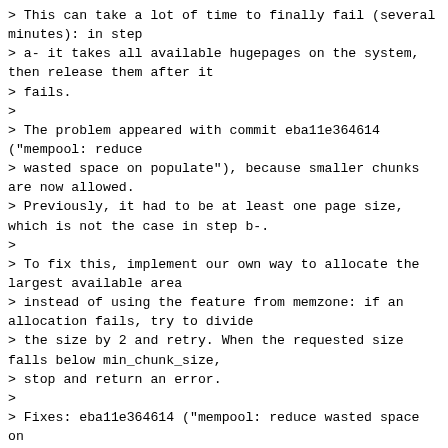> This can take a lot of time to finally fail (several minutes): in step
> a- it takes all available hugepages on the system, then release them after it
> fails.
>
> The problem appeared with commit eba11e364614 ("mempool: reduce
> wasted space on populate"), because smaller chunks are now allowed.
> Previously, it had to be at least one page size, which is not the case in step b-.
>
> To fix this, implement our own way to allocate the largest available area
> instead of using the feature from memzone: if an allocation fails, try to divide
> the size by 2 and retry. When the requested size falls below min_chunk_size,
> stop and return an error.
>
> Fixes: eba11e364614 ("mempool: reduce wasted space on populate")
> Cc: stable@dpdk.org
>
> Signed-off-by: Olivier Matz <olivier.matz@6wind.com>
> ---

Testpmd (testpmd -n4 -- -i) fails to start after applying this patch with: